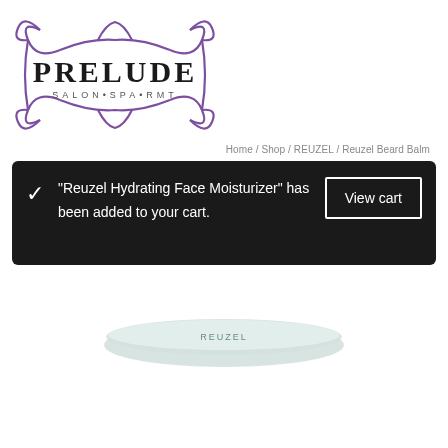[Figure (logo): Prelude Salon Spa RMT logo with decorative purple scroll border frame and large black serif text PRELUDE with SALON·SPA·RMT below]
Home / Shop / REUZEL / Reuzel Beard Balm
✓ "Reuzel Hydrating Face Moisturizer" has been added to your cart. View cart
[Figure (photo): Partial product image of Reuzel Beard Balm tin seen from above at the bottom of the page]